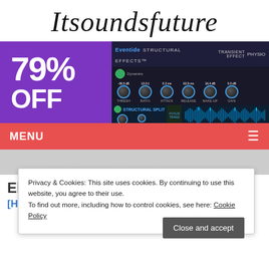Itsoundsfuture
[Figure (screenshot): Advertisement banner showing 79% OFF in white text on purple background, alongside a plugin/software interface (Eventide Structural Effects - Physio) with knobs for Thresh, Ratio, Attack, Release, Make-Up, Gain and a waveform display]
MENU
Privacy & Cookies: This site uses cookies. By continuing to use this website, you agree to their use.
To find out more, including how to control cookies, see here: Cookie Policy
Close and accept
Category: TECHNO
Elisa Bee – Send Me A Vision EP
[Hardgroove